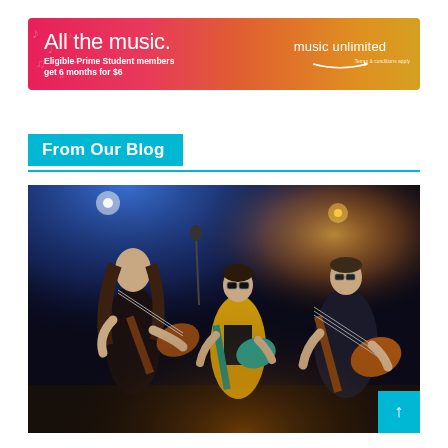[Figure (infographic): Amazon Music Unlimited advertisement banner with gradient background from pink/red to orange/yellow. Text reads: 'All the music. Eligible Prime Prime Student members get 6 months for $6' with Amazon Music Unlimited logo and smile arrow.]
From Our Blog
[Figure (photo): Concert photo showing three musicians performing on stage with electric guitars under blue and warm stage lighting. Musicians include a guitarist with long hair, a guitarist in sunglasses and yellow jacket, and a bass guitarist.]